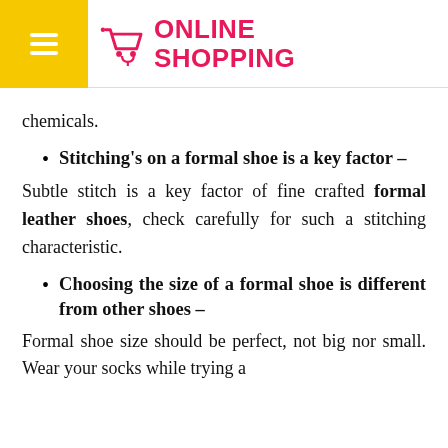ONLINE SHOPPING
chemicals.
Stitching's on a formal shoe is a key factor –
Subtle stitch is a key factor of fine crafted formal leather shoes, check carefully for such a stitching characteristic.
Choosing the size of a formal shoe is different from other shoes –
Formal shoe size should be perfect, not big nor small. Wear your socks while trying a formal shoe. The shoe should be the proper fit.